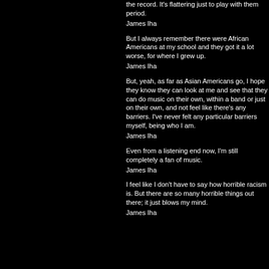the record. It's flattering just to play with them period.
James Iha
But I always remember there were African Americans at my school and they got it a lot worse, for where I grew up.
James Iha
But, yeah, as far as Asian Americans go, I hope they know they can look at me and see that they can do music on their own, within a band or just on their own, and not feel like there's any barriers. I've never felt any particular barriers myself, being who I am.
James Iha
Even from a listening end now, I'm still completely a fan of music.
James Iha
I feel like I don't have to say how horrible racism is. But there are so many horrible things out there; it just blows my mind.
James Iha